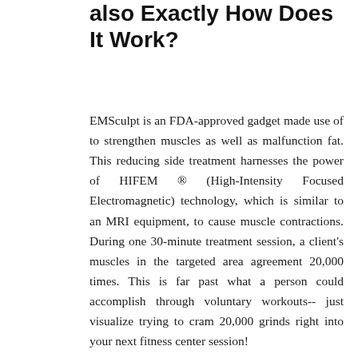also Exactly How Does It Work?
EMSculpt is an FDA-approved gadget made use of to strengthen muscles as well as malfunction fat. This reducing side treatment harnesses the power of HIFEM ® (High-Intensity Focused Electromagnetic) technology, which is similar to an MRI equipment, to cause muscle contractions. During one 30-minute treatment session, a client's muscles in the targeted area agreement 20,000 times. This is far past what a person could accomplish through voluntary workouts-- just visualize trying to cram 20,000 grinds right into your next fitness center session!
These intense contractions called "supramaximal contractions" catalyze a process called lipolysis within the body. In simpler terms, the muscles and also